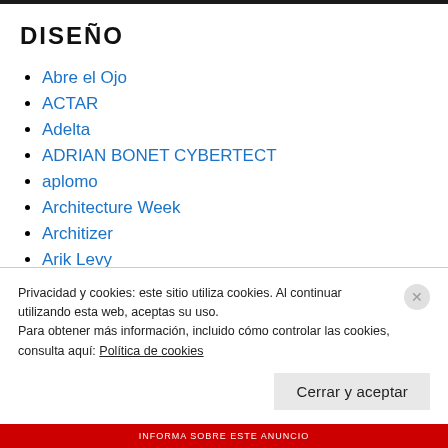DISEÑO
Abre el Ojo
ACTAR
Adelta
ADRIAN BONET CYBERTECT
aplomo
Architecture Week
Architizer
Arik Levy
Privacidad y cookies: este sitio utiliza cookies. Al continuar utilizando esta web, aceptas su uso.
Para obtener más información, incluido cómo controlar las cookies, consulta aquí: Política de cookies
Cerrar y aceptar